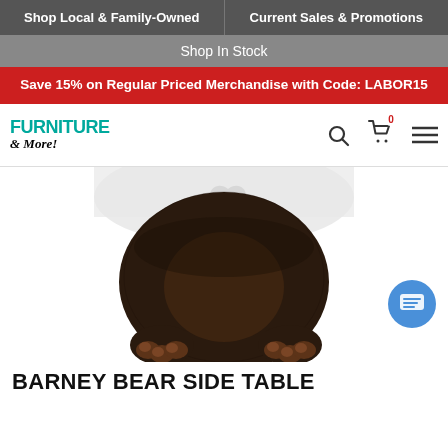Shop Local & Family-Owned | Current Sales & Promotions
Shop In Stock
Save 15% on Regular Priced Merchandise with Code: LABOR15
[Figure (logo): Furniture & More! logo with teal FURNITURE text and italic script & More!]
[Figure (photo): Barney Bear Side Table product photo showing bottom torso and legs of a dark brown bear figurine table with white tabletop visible at top]
BARNEY BEAR SIDE TABLE